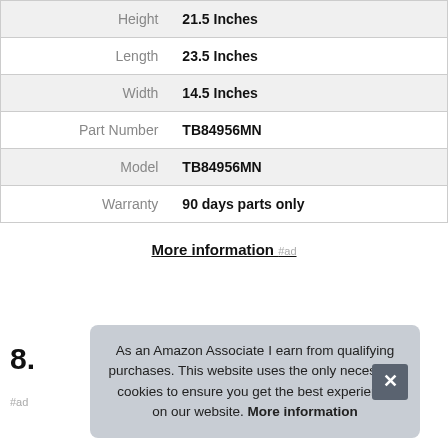| Property | Value |
| --- | --- |
| Height | 21.5 Inches |
| Length | 23.5 Inches |
| Width | 14.5 Inches |
| Part Number | TB84956MN |
| Model | TB84956MN |
| Warranty | 90 days parts only |
More information #ad
8.
#ad
As an Amazon Associate I earn from qualifying purchases. This website uses the only necessary cookies to ensure you get the best experience on our website. More information